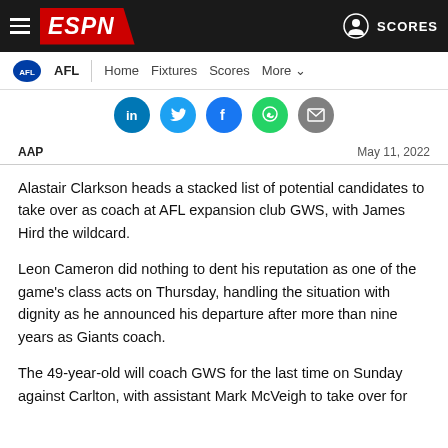ESPN - AFL - Home Fixtures Scores More
[Figure (screenshot): Row of social media share buttons: LinkedIn (dark blue), Twitter (light blue), Facebook (dark blue), WhatsApp (green), email (grey)]
AAP   May 11, 2022
Alastair Clarkson heads a stacked list of potential candidates to take over as coach at AFL expansion club GWS, with James Hird the wildcard.
Leon Cameron did nothing to dent his reputation as one of the game's class acts on Thursday, handling the situation with dignity as he announced his departure after more than nine years as Giants coach.
The 49-year-old will coach GWS for the last time on Sunday against Carlton, with assistant Mark McVeigh to take over for